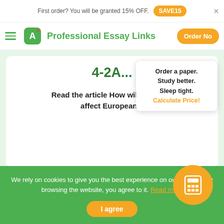First order? You will be granted 15% OFF. SAVE15
Professional Essay Links  Order Now
4-2A...
Read the article How will refugees affect European...
Order a paper. Study better. Sleep tight. Calculate Price!
We rely on cookies to give you the best experience on our website. By browsing the website, you agree to it. Read more
I agree